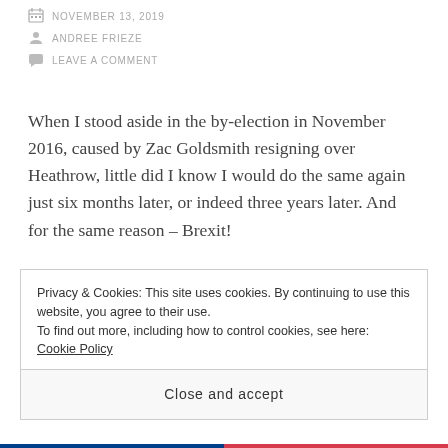NOVEMBER 13, 2019
ANDREE FRIEZE
LEAVE A COMMENT
When I stood aside in the by-election in November 2016, caused by Zac Goldsmith resigning over Heathrow, little did I know I would do the same again just six months later, or indeed three years later. And for the same reason – Brexit!
The last three-and-a-half-years since the advisory referendum on leaving the EU has trained a
Privacy & Cookies: This site uses cookies. By continuing to use this website, you agree to their use.
To find out more, including how to control cookies, see here: Cookie Policy
Close and accept